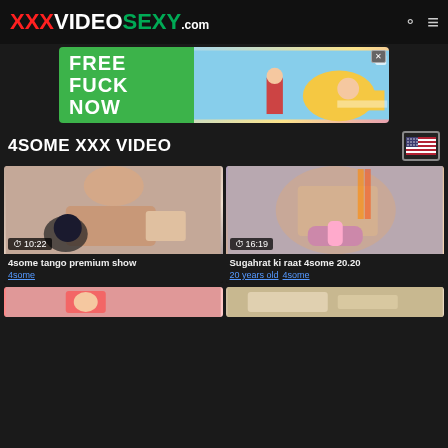XXXVIDEOSEXY.com
[Figure (illustration): Advertisement banner: FREE FUCK NOW with cartoon illustration]
4SOME XXX VIDEO
[Figure (photo): Video thumbnail: 4some tango premium show, duration 10:22]
4some tango premium show
4some
[Figure (photo): Video thumbnail: Sugahrat ki raat 4some 20.20, duration 16:19]
Sugahrat ki raat 4some 20.20
20 years old  4some
[Figure (photo): Video thumbnail: partially visible at bottom left]
[Figure (photo): Video thumbnail: partially visible at bottom right]